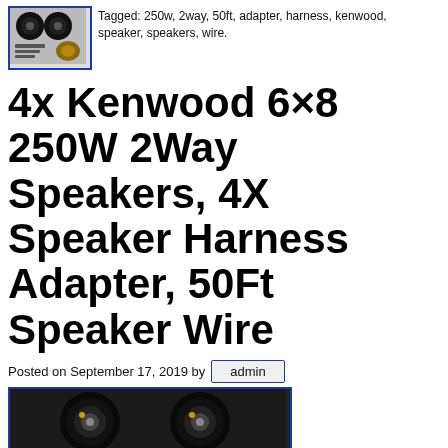[Figure (photo): Thumbnail image of Kenwood speakers and accessories with blue border]
Tagged: 250w, 2way, 50ft, adapter, harness, kenwood, speaker, speakers, wire.
4x Kenwood 6×8 250W 2Way Speakers, 4X Speaker Harness Adapter, 50Ft Speaker Wire
Posted on September 17, 2019 by admin
[Figure (photo): Photo of two Kenwood 6x8 speakers with blue border, bottom of page]